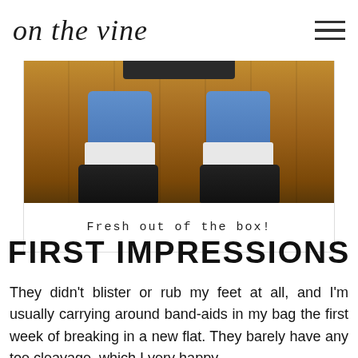on the vine
[Figure (photo): Looking down at feet wearing dark flat shoes with white socks and blue jeans, standing on a wooden floor. Photo taken from above looking downward.]
Fresh out of the box!
FIRST IMPRESSIONS
They didn't blister or rub my feet at all, and I'm usually carrying around band-aids in my bag the first week of breaking in a new flat. They barely have any toe cleavage, which I very happy